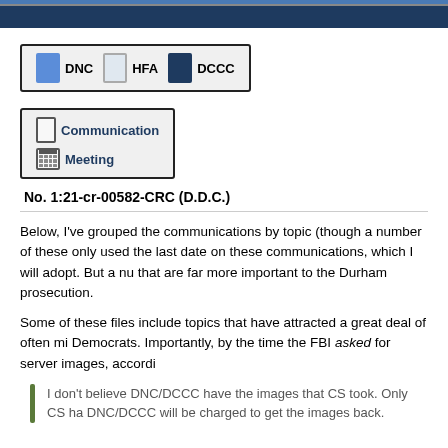[Figure (infographic): Legend box showing DNC (blue square), HFA (light square), DCCC (dark navy square) color codes]
[Figure (infographic): Legend box showing Communication (phone icon) and Meeting (calendar icon) symbols]
No. 1:21-cr-00582-CRC (D.D.C.)
Below, I've grouped the communications by topic (though a number of these only used the last date on these communications, which I will adopt. But a nu that are far more important to the Durham prosecution.
Some of these files include topics that have attracted a great deal of often mi Democrats. Importantly, by the time the FBI asked for server images, accordi
I don't believe DNC/DCCC have the images that CS took. Only CS ha DNC/DCCC will be charged to get the images back.